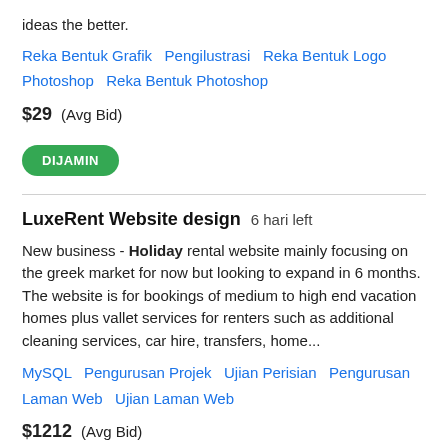ideas the better.
Reka Bentuk Grafik   Pengilustrasi   Reka Bentuk Logo   Photoshop   Reka Bentuk Photoshop
$29  (Avg Bid)
DIJAMIN
LuxeRent Website design  6 hari left
New business - Holiday rental website mainly focusing on the greek market for now but looking to expand in 6 months. The website is for bookings of medium to high end vacation homes plus vallet services for renters such as additional cleaning services, car hire, transfers, home...
MySQL   Pengurusan Projek   Ujian Perisian   Pengurusan Laman Web   Ujian Laman Web
$1212  (Avg Bid)